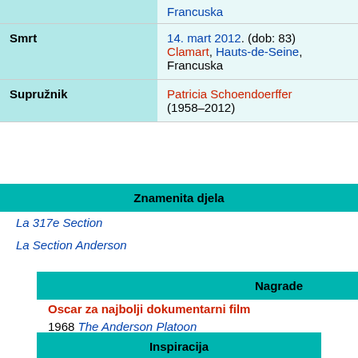| Label | Value |
| --- | --- |
|  | Francuska |
| Smrt | 14. mart 2012. (dob: 83)
Clamart, Hauts-de-Seine,
Francuska |
| Supružnik | Patricia Schoendoerffer
(1958–2012) |
Znamenita djela
La 317e Section
La Section Anderson
Nagrade
Oscar za najbolji dokumentarni film
1968 The Anderson Platoon
Inspiracija
Na
Francis Ford Coppola